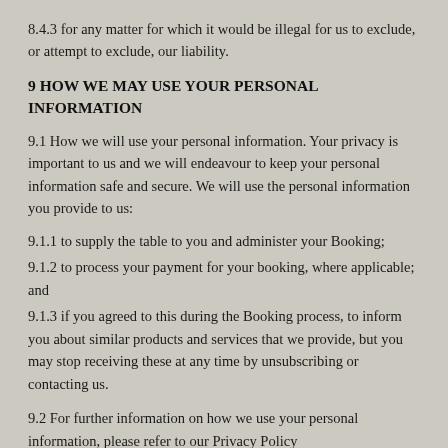8.4.3 for any matter for which it would be illegal for us to exclude, or attempt to exclude, our liability.
9 HOW WE MAY USE YOUR PERSONAL INFORMATION
9.1 How we will use your personal information. Your privacy is important to us and we will endeavour to keep your personal information safe and secure. We will use the personal information you provide to us:
9.1.1 to supply the table to you and administer your Booking;
9.1.2 to process your payment for your booking, where applicable; and
9.1.3 if you agreed to this during the Booking process, to inform you about similar products and services that we provide, but you may stop receiving these at any time by unsubscribing or contacting us.
9.2 For further information on how we use your personal information, please refer to our Privacy Policy